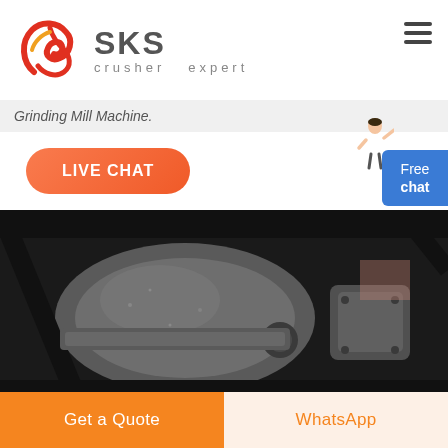[Figure (logo): SKS crusher expert logo with stylized red brushstroke emblem and grey SKS text with 'crusher expert' tagline]
Grinding Mill Machine.
LIVE CHAT
Free chat
[Figure (photo): Close-up industrial photo of heavy metal crusher/grinding mill machine components showing grey cast metal housing and mechanical parts]
Get a Quote
WhatsApp